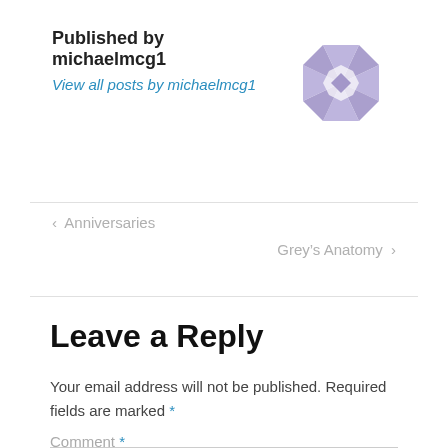Published by michaelmcg1
View all posts by michaelmcg1
[Figure (illustration): Purple geometric star/pinwheel avatar icon made of triangular shapes]
‹ Anniversaries
Grey's Anatomy ›
Leave a Reply
Your email address will not be published. Required fields are marked *
Comment *